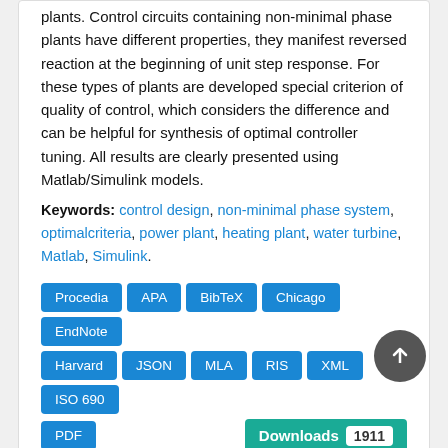plants. Control circuits containing non-minimal phase plants have different properties, they manifest reversed reaction at the beginning of unit step response. For these types of plants are developed special criterion of quality of control, which considers the difference and can be helpful for synthesis of optimal controller tuning. All results are clearly presented using Matlab/Simulink models.
Keywords: control design, non-minimal phase system, optimalcriteria, power plant, heating plant, water turbine, Matlab, Simulink.
Procedia APA BibTeX Chicago EndNote Harvard JSON MLA RIS XML ISO 690 PDF Downloads 1911
633 Ethnobotanical Study on the Usage of Toxic